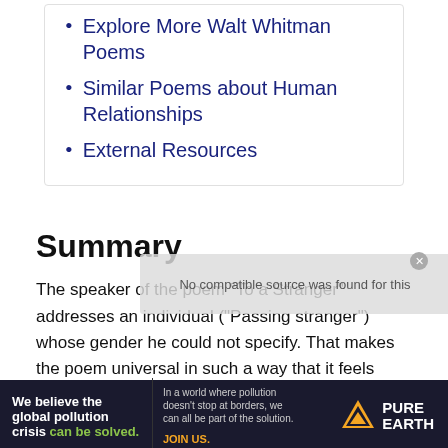Explore More Walt Whitman Poems
Similar Poems about Human Relationships
External Resources
Summary
The speaker of the poem “To a Stranger” addresses an individual (“Passing stranger”) whose gender he could not specify. That makes the poem universal in such a way that it feels
[Figure (other): Advertisement banner for Pure Earth charity. Left side: 'We believe the global pollution crisis can be solved.' Middle: 'In a world where pollution doesn’t stop at borders, we can all be part of the solution. JOIN US.' Right side: Pure Earth logo with diamond icon.]